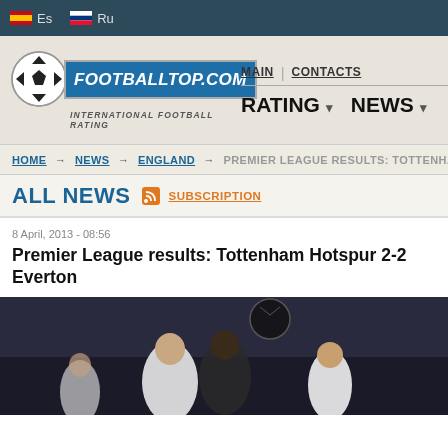Es  Ru
[Figure (logo): FOOTBALLTOP.COM logo with soccer ball icon and tagline INTERNATIONAL FOOTBALL RATING]
MAIN  CONTACTS  RATING  NEWS
HOME → NEWS → ENGLAND → PREMIER LEAGUE RESULTS: TOTTENHAM...
ALL NEWS  SUBSCRIPTION
8 April, 2013 - 08:56
Premier League results: Tottenham Hotspur 2-2 Everton
[Figure (photo): Football players heading the ball during a match, action photo from Tottenham Hotspur vs Everton]